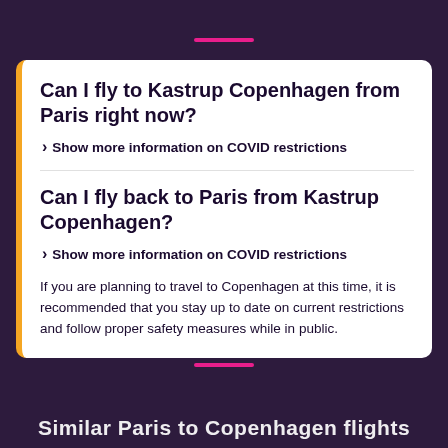Can I fly to Kastrup Copenhagen from Paris right now?
Show more information on COVID restrictions
Can I fly back to Paris from Kastrup Copenhagen?
Show more information on COVID restrictions
If you are planning to travel to Copenhagen at this time, it is recommended that you stay up to date on current restrictions and follow proper safety measures while in public.
Similar Paris to Copenhagen flights